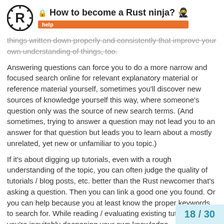How to become a Rust ninja? 🥷 help
things written down properly and consistently that improve your own understanding of things, too.
Answering questions can force you to do a more narrow and focused search online for relevant explanatory material or reference material yourself, sometimes you'll discover new sources of knowledge yourself this way, where someone's question only was the source of new search terms. (And sometimes, trying to answer a question may not lead you to an answer for that question but leads you to learn about a mostly unrelated, yet new or unfamiliar to you topic.)
If it's about digging up tutorials, even with a rough understanding of the topic, you can often judge the quality of tutorials / blog posts, etc. better than the Rust newcomer that's asking a question. Then you can link a good one you found. Or you can help because you at least know the proper keywords to search for. While reading / evaluating existing tutorials, you're inevitably deepening your own knowledge.
18 / 30